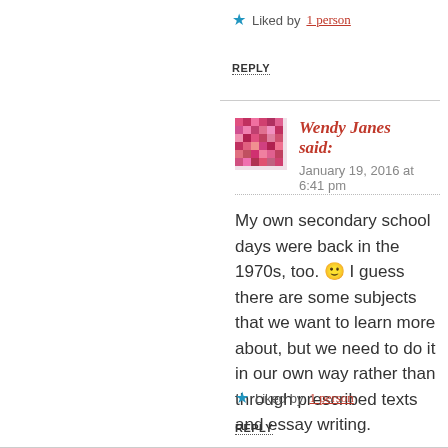★ Liked by 1 person
REPLY
Wendy Janes said:
January 19, 2016 at 6:41 pm
My own secondary school days were back in the 1970s, too. 🙂 I guess there are some subjects that we want to learn more about, but we need to do it in our own way rather than through prescribed texts and essay writing.
★ Liked by 1 person
REPLY